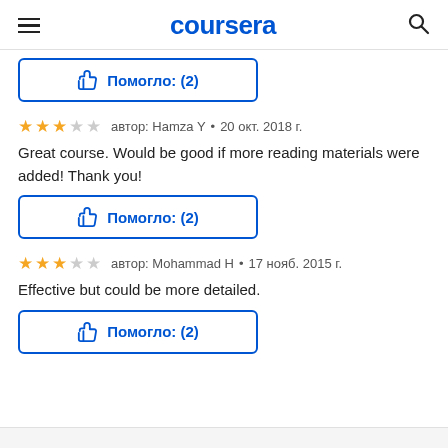coursera
[Figure (other): Helpful button with thumbs up icon and text Помогло: (2)]
автор: Hamza Y  •  20 окт. 2018 г.
Great course. Would be good if more reading materials were added! Thank you!
[Figure (other): Helpful button with thumbs up icon and text Помогло: (2)]
автор: Mohammad H  •  17 нояб. 2015 г.
Effective but could be more detailed.
[Figure (other): Helpful button with thumbs up icon and text Помогло: (2)]